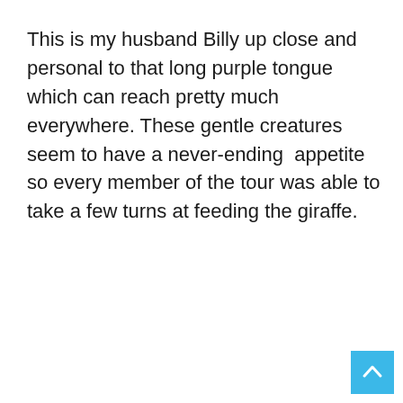This is my husband Billy up close and personal to that long purple tongue which can reach pretty much everywhere. These gentle creatures seem to have a never-ending  appetite so every member of the tour was able to take a few turns at feeding the giraffe.